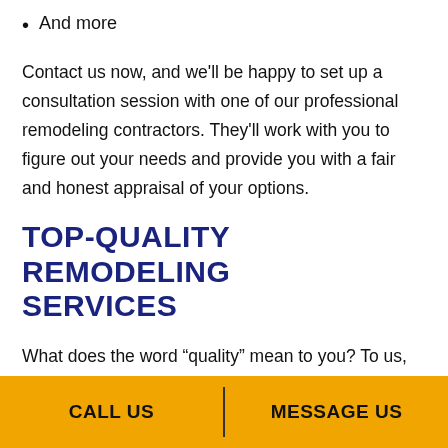And more
Contact us now, and we'll be happy to set up a consultation session with one of our professional remodeling contractors. They'll work with you to figure out your needs and provide you with a fair and honest appraisal of your options.
TOP-QUALITY REMODELING SERVICES
What does the word “quality” mean to you? To us, it’s so much more than just a buzzword. It’s the foundation of our company, and it’s a part of everything we do.
CALL US | MESSAGE US